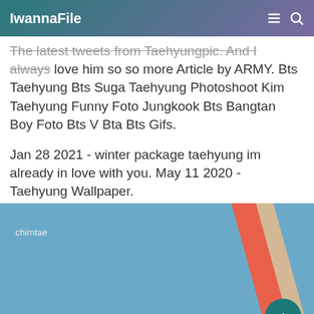IwannaFile
The latest tweets from Taehyungpic. And I always love him so so more Article by ARMY. Bts Taehyung Bts Suga Taehyung Photoshoot Kim Taehyung Funny Foto Jungkook Bts Bangtan Boy Foto Bts V Bta Bts Gifs.
Jan 28 2021 - winter package taehyung im already in love with you. May 11 2020 - Taehyung Wallpaper.
[Figure (photo): Photo with blue sky background and a diagonal orange/red and cream colored stripe or object, with watermark text 'chimtae' and a teal scroll-to-top button]